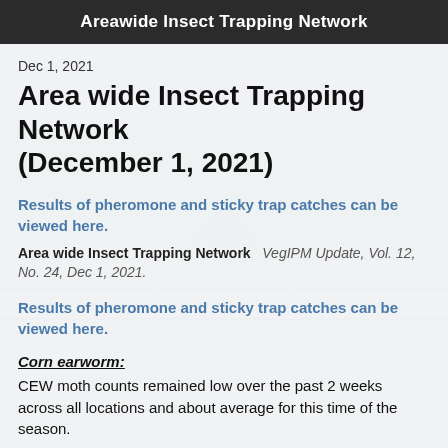Areawide Insect Trapping Network
Dec 1, 2021
Area wide Insect Trapping Network (December 1, 2021)
Results of pheromone and sticky trap catches can be viewed here.
Area wide Insect Trapping Network   VegIPM Update, Vol. 12, No. 24, Dec 1, 2021.
Results of pheromone and sticky trap catches can be viewed here.
Corn earworm:
CEW moth counts remained low over the past 2 weeks across all locations and about average for this time of the season.